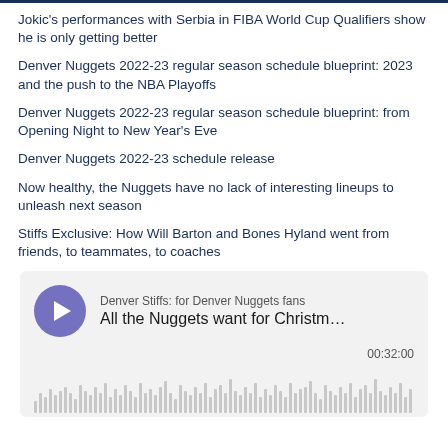Jokic's performances with Serbia in FIBA World Cup Qualifiers show he is only getting better
Denver Nuggets 2022-23 regular season schedule blueprint: 2023 and the push to the NBA Playoffs
Denver Nuggets 2022-23 regular season schedule blueprint: from Opening Night to New Year's Eve
Denver Nuggets 2022-23 schedule release
Now healthy, the Nuggets have no lack of interesting lineups to unleash next season
Stiffs Exclusive: How Will Barton and Bones Hyland went from friends, to teammates, to coaches
[Figure (other): Podcast player widget for Denver Stiffs showing episode 'All the Nuggets want for Christm...' with play button, duration 00:32:00 and audio waveform visualization]